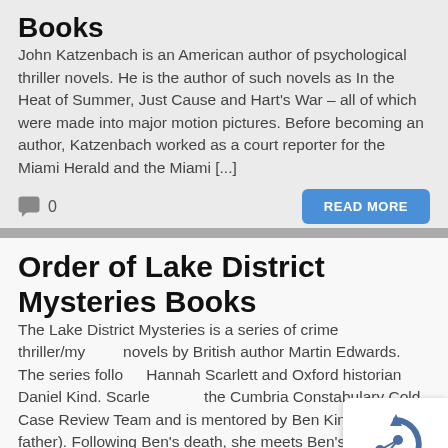Books
John Katzenbach is an American author of psychological thriller novels. He is the author of such novels as In the Heat of Summer, Just Cause and Hart's War – all of which were made into major motion pictures. Before becoming an author, Katzenbach worked as a court reporter for the Miami Herald and the Miami [...]
0
READ MORE
Order of Lake District Mysteries Books
The Lake District Mysteries is a series of crime thriller/mystery novels by British author Martin Edwards. The series follows Hannah Scarlett and Oxford historian Daniel Kind. Scarlett leads the Cumbria Constabulary Cold Case Review Team and is mentored by Ben Kind (Daniel's father). Following Ben's death, she meets Ben's son Daniel and friendship (and [...]
0
READ MORE